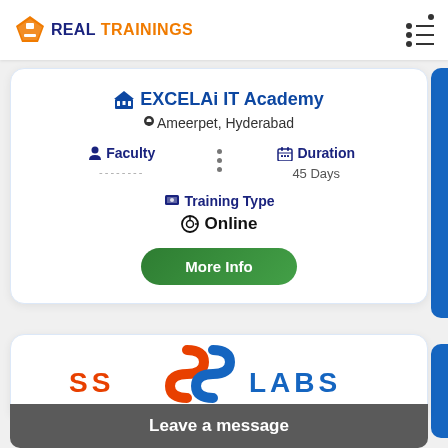REAL TRAININGS
EXCELAi IT Academy
Ameerpet, Hyderabad
Faculty
Duration — 45 Days
Training Type
Online
More Info
[Figure (logo): SS LABS logo with orange and blue stylized S shape]
Leave a message